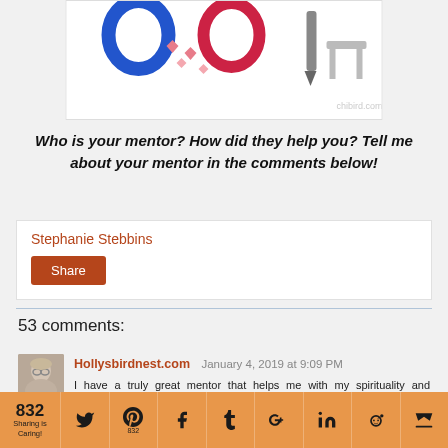[Figure (illustration): Partial view of a chibird.com illustration with cartoon characters and heart shapes on a white card background]
Who is your mentor? How did they help you? Tell me about your mentor in the comments below!
Stephanie Stebbins
Share
53 comments:
Hollysbirdnest.com  January 4, 2019 at 9:09 PM
I have a truly great mentor that helps me with my spirituality and personal growth! I agree that everyone